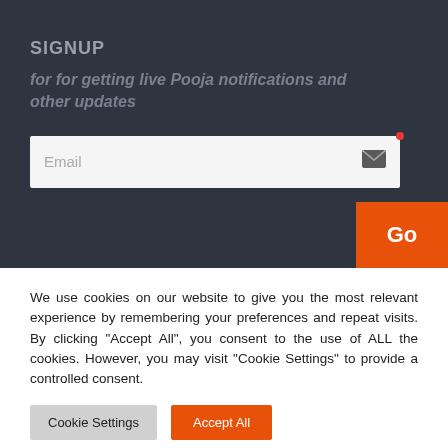SIGNUP
for for getting live Pooja notifications and other updates
[Figure (screenshot): Email input field with envelope icon and red dot indicator]
[Figure (screenshot): Orange Go button]
We use cookies on our website to give you the most relevant experience by remembering your preferences and repeat visits. By clicking "Accept All", you consent to the use of ALL the cookies. However, you may visit "Cookie Settings" to provide a controlled consent.
Cookie Settings
Accept All